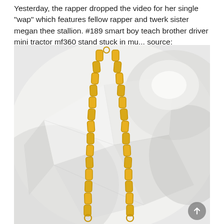Yesterday, the rapper dropped the video for her single "wap" which features fellow rapper and twerk sister megan thee stallion. #189 smart boy teach brother driver mini tractor mf360 stand stuck in mu... source:
[Figure (photo): Close-up photo of a gold chain necklace/bracelet with rectangular links, resting against a white crystal or quartz background]